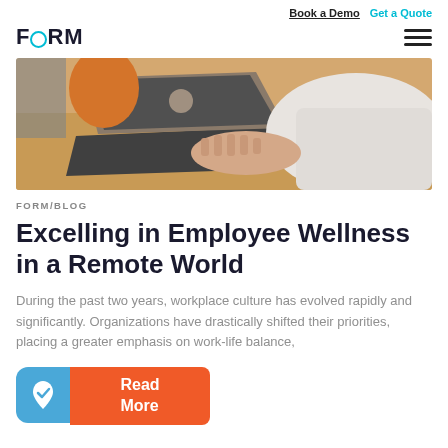Book a Demo  Get a Quote
FORM
[Figure (photo): Person in white sweater working on a laptop on a wooden desk, viewed from above at an angle.]
FORM/BLOG
Excelling in Employee Wellness in a Remote World
During the past two years, workplace culture has evolved rapidly and significantly. Organizations have drastically shifted their priorities, placing a greater emphasis on work-life balance,
Read More